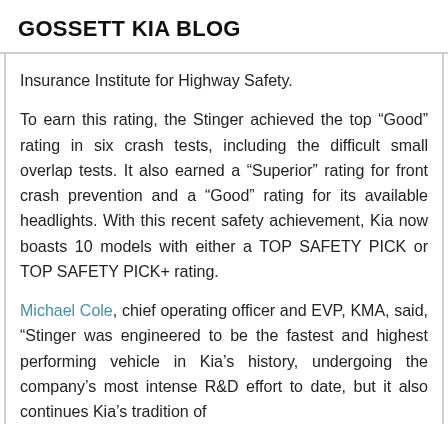GOSSETT KIA BLOG
Insurance Institute for Highway Safety.
To earn this rating, the Stinger achieved the top “Good” rating in six crash tests, including the difficult small overlap tests. It also earned a “Superior” rating for front crash prevention and a “Good” rating for its available headlights. With this recent safety achievement, Kia now boasts 10 models with either a TOP SAFETY PICK or TOP SAFETY PICK+ rating.
Michael Cole, chief operating officer and EVP, KMA, said, “Stinger was engineered to be the fastest and highest performing vehicle in Kia’s history, undergoing the company’s most intense R&D effort to date, but it also continues Kia’s tradition of